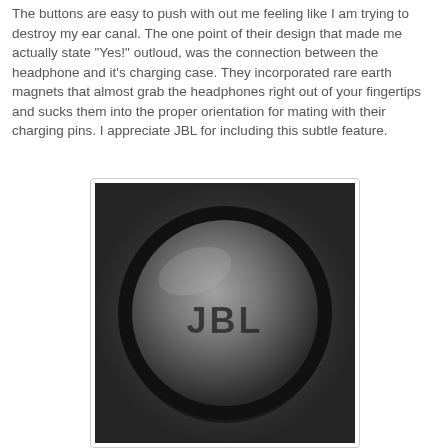The buttons are easy to push with out me feeling like I am trying to destroy my ear canal. The one point of their design that made me actually state "Yes!" outloud, was the connection between the headphone and it's charging case. They incorporated rare earth magnets that almost grab the headphones right out of your fingertips and sucks them into the proper orientation for mating with their charging pins. I appreciate JBL for including this subtle feature.
[Figure (photo): Close-up photo of a JBL earbud charging case sitting in a dark foam cutout. The case is rounded and dark gray/black with the JBL logo embossed on the top surface.]